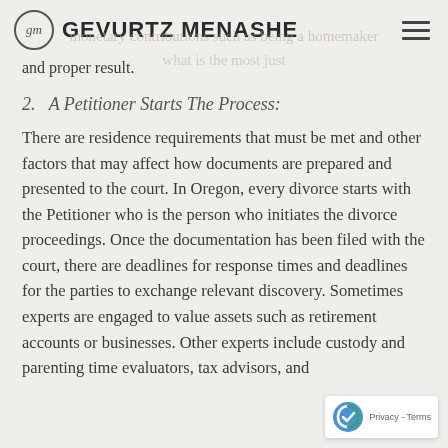GEVURTZ MENASHE
and proper result.
2.   A Petitioner Starts The Process:
There are residence requirements that must be met and other factors that may affect how documents are prepared and presented to the court. In Oregon, every divorce starts with the Petitioner who is the person who initiates the divorce proceedings. Once the documentation has been filed with the court, there are deadlines for response times and deadlines for the parties to exchange relevant discovery. Sometimes experts are engaged to value assets such as retirement accounts or businesses. Other experts include custody and parenting time evaluators, tax advisors, and...